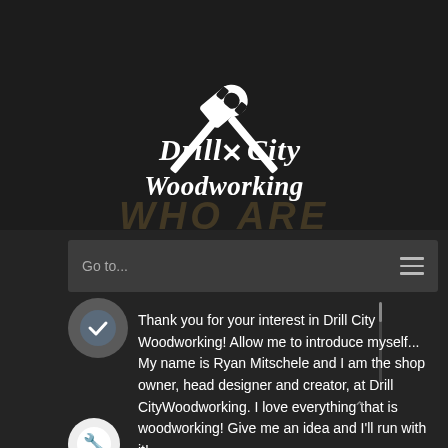[Figure (logo): Drill City Woodworking logo with crossed hammer and wrench tools above the text 'Drill City Woodworking' in gothic/blackletter font, white on dark background]
Go to...
[Figure (illustration): Circular avatar icon with checkmark/tick symbol, dark gray background]
Thank you for your interest in Drill City Woodworking! Allow me to introduce myself... My name is Ryan Mitschele and I am the shop owner, head designer and creator, at Drill CityWoodworking. I love everything that is woodworking! Give me an idea and I'll run with it!
[Figure (illustration): Circular avatar icon with wrench symbol in blue, white background]